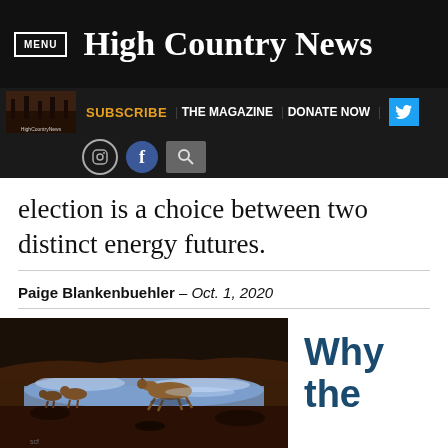MENU | High Country News
SUBSCRIBE | THE MAGAZINE | DONATE NOW
election is a choice between two distinct energy futures.
Paige Blankenbuehler – Oct. 1, 2020
[Figure (photo): Caribou crossing a frozen or icy landscape, with a group of animals visible, tundra terrain]
Why the